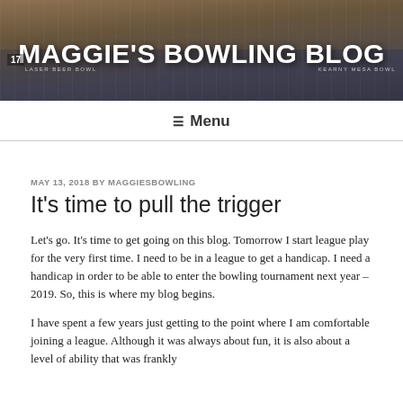MAGGIE'S BOWLING BLOG
≡ Menu
MAY 13, 2018 BY MAGGIESBOWLING
It's time to pull the trigger
Let's go. It's time to get going on this blog. Tomorrow I start league play for the very first time. I need to be in a league to get a handicap. I need a handicap in order to be able to enter the bowling tournament next year – 2019. So, this is where my blog begins.
I have spent a few years just getting to the point where I am comfortable joining a league. Although it was always about fun, it is also about a level of ability that was frankly